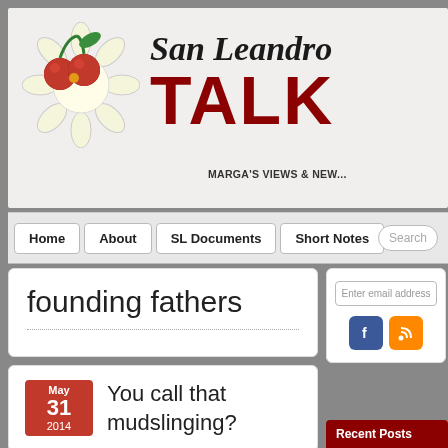[Figure (logo): San Leandro Talk website logo with cherry on daisy flower illustration]
San Leandro TALK
MARGA'S VIEWS & NEW...
Home
About
SL Documents
Short Notes
founding fathers
You call that mudslinging?
May 31 2014
Enter email address
Recent Posts